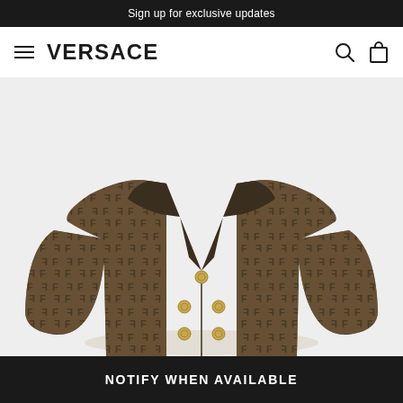Sign up for exclusive updates
VERSACE
[Figure (photo): Brown monogram-patterned jacket (FF logo pattern in dark brown on tan/khaki background) with gold buttons, shown against a light grey background. The jacket has a point collar, double-breasted style with gold buttons, and long sleeves.]
NOTIFY WHEN AVAILABLE